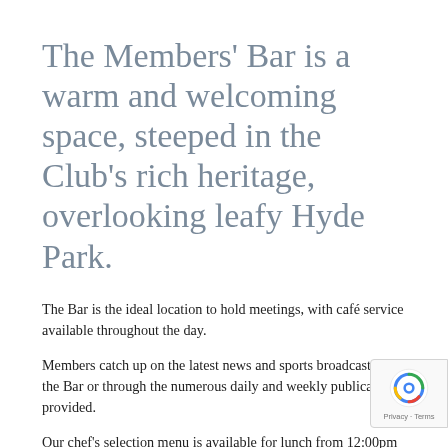The Members' Bar is a warm and welcoming space, steeped in the Club's rich heritage, overlooking leafy Hyde Park.
The Bar is the ideal location to hold meetings, with café service available throughout the day.
Members catch up on the latest news and sports broadcasts in the Bar or through the numerous daily and weekly publications provided.
Our chef's selection menu is available for lunch from 12:00pm to 3:00pm each weekday and Wednesday to Friday evenings from 5:30pm to